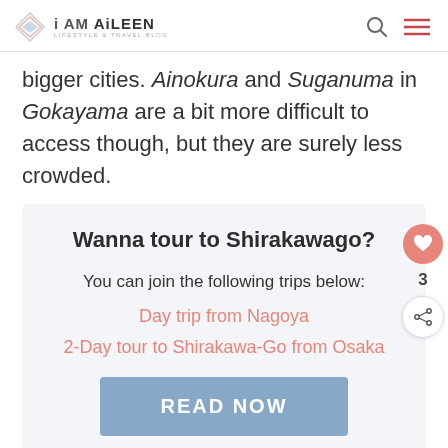i AM AiLEEN — LIFESTYLE & TRAVEL BLOG
bigger cities. Ainokura and Suganuma in Gokayama are a bit more difficult to access though, but they are surely less crowded.
Wanna tour to Shirakawago?
You can join the following trips below:
Day trip from Nagoya
2-Day tour to Shirakawa-Go from Osaka
READ NOW